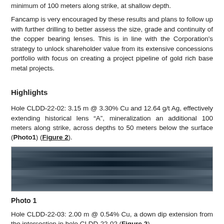minimum of 100 meters along strike, at shallow depth.
Fancamp is very encouraged by these results and plans to follow up with further drilling to better assess the size, grade and continuity of the copper bearing lenses. This is in line with the Corporation's strategy to unlock shareholder value from its extensive concessions portfolio with focus on creating a project pipeline of gold rich base metal projects.
Highlights
Hole CLDD-22-02: 3.15 m @ 3.30% Cu and 12.64 g/t Ag, effectively extending historical lens “A”, mineralization an additional 100 meters along strike, across depths to 50 meters below the surface (Photo1) (Figure 2).
[Figure (photo): Photo of drill core samples in core trays showing dark grey/black mineralized rock core from hole CLDD-22-02]
Photo 1
Hole CLDD-22-03: 2.00 m @ 0.54% Cu, a down dip extension from the intersection in hole CLDD-22-02 (Figure 2).